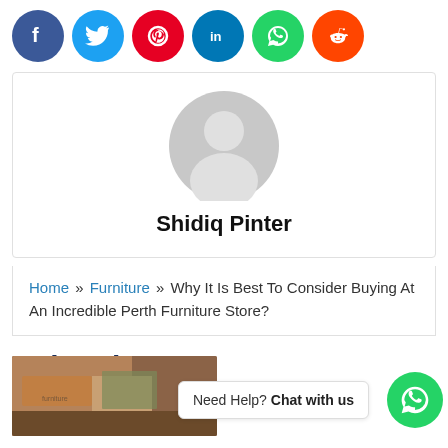[Figure (infographic): Social media share buttons row: Facebook (dark blue), Twitter (light blue), Pinterest (red), LinkedIn (dark blue), WhatsApp (green), Reddit (orange)]
[Figure (illustration): Generic grey avatar/profile placeholder image showing a person silhouette inside a circle]
Shidiq Pinter
Home » Furniture » Why It Is Best To Consider Buying At An Incredible Perth Furniture Store?
Related Posts
[Figure (photo): Partial photo of furniture items on a wooden surface]
Need Help? Chat with us